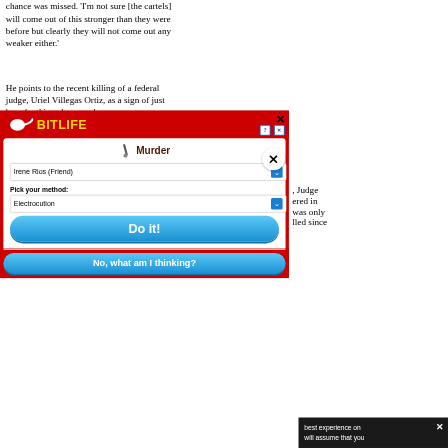chance was missed. 'I'm not sure [the cartels] will come out of this stronger than they were before but clearly they will not come out any weaker either.'
He points to the recent killing of a federal judge, Uriel Villegas Ortiz, as a sign of just how far things have sunk.
[Figure (screenshot): BitLife mobile game advertisement overlay showing a 'Murder' action menu with a dropdown for 'Irene Rios (Friend)', a 'Pick your method:' dropdown set to 'Electrocution', a blue 'Do it!' button, and a blue 'No, what am I thinking?' button. The ad has a red background with the BitLife logo (yellow bold text with sperm icon).]
, Judge ered in was only lled since
best experience on will assume that you